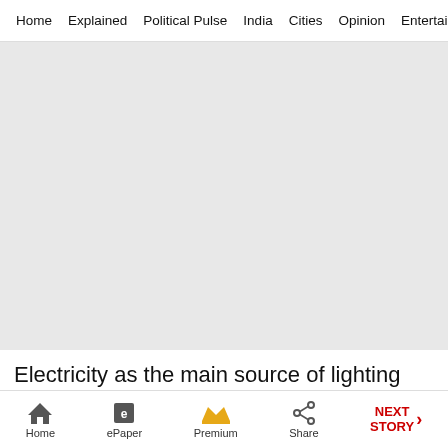Home  Explained  Political Pulse  India  Cities  Opinion  Entertainment
[Figure (photo): Large gray placeholder image area for an article photo]
Electricity as the main source of lighting was reported by 83.9 per cent households. Kerosene
Home  ePaper  Premium  Share  NEXT STORY